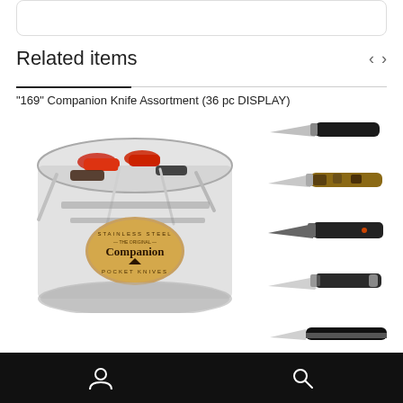Related items
"169" Companion Knife Assortment (36 pc DISPLAY)
[Figure (photo): A clear plastic bucket/display container filled with multiple folding pocket knives with various colored handles (red, black, brown). The bucket has a label reading 'Stainless Steel - The Original - Companion - Pocket Knives'. To the right are thumbnails showing individual knives: a black-handled folding knife, a camouflage-handled folding knife, a black tactical folding knife, a silver serrated folding knife, and a black and silver folding knife partially visible.]
Navigation bar with user icon and search icon